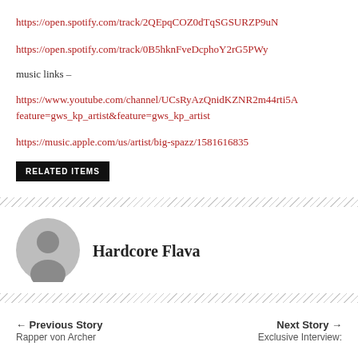https://open.spotify.com/track/2QEpqCOZ0dTqSGSURZP9uN
https://open.spotify.com/track/0B5hknFveDcphoY2rG5PWy
music links –
https://www.youtube.com/channel/UCsRyAzQnidKZNR2m44rti5A feature=gws_kp_artist&feature=gws_kp_artist
https://music.apple.com/us/artist/big-spazz/1581616835
RELATED ITEMS
[Figure (illustration): Gray circular user avatar icon]
Hardcore Flava
← Previous Story Rapper von Archer
Next Story → Exclusive Interview: